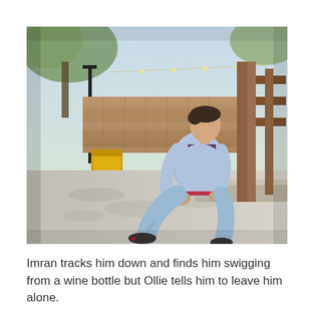[Figure (photo): A young man in a light blue jacket and jeans sits on a stone ledge or ground outdoors, hunched over and looking downward. In the background there is a stone/brick wall, trees casting shadows, a yellow bin, a wooden structure to the right, and a paved ground area.]
Imran tracks him down and finds him swigging from a wine bottle but Ollie tells him to leave him alone.